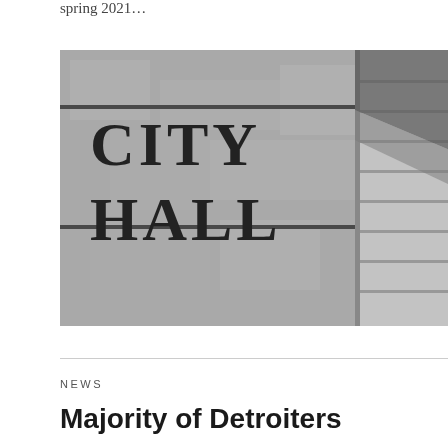spring 2021…
[Figure (photo): Black and white photograph of a granite building facade with the words 'CITY HALL' engraved in large serif letters, with architectural corner detail visible on the right side.]
NEWS
Majority of Detroiters